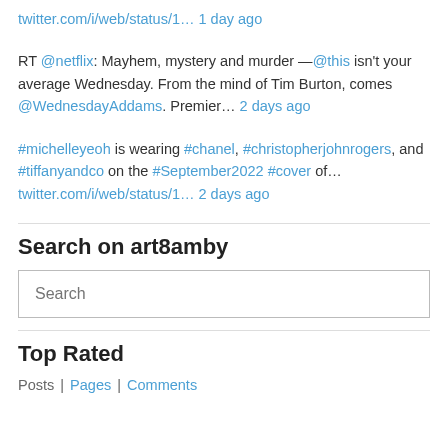twitter.com/i/web/status/1… 1 day ago
RT @netflix: Mayhem, mystery and murder —@this isn't your average Wednesday. From the mind of Tim Burton, comes @WednesdayAddams. Premier… 2 days ago
#michelleyeoh is wearing #chanel, #christopherjohnrogers, and #tiffanyandco on the #September2022 #cover of… twitter.com/i/web/status/1… 2 days ago
Search on art8amby
Search
Top Rated
Posts | Pages | Comments